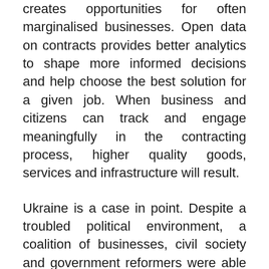creates opportunities for often marginalised businesses. Open data on contracts provides better analytics to shape more informed decisions and help choose the best solution for a given job. When business and citizens can track and engage meaningfully in the contracting process, higher quality goods, services and infrastructure will result.
Ukraine is a case in point. Despite a troubled political environment, a coalition of businesses, civil society and government reformers were able to build and pilot Prozorro, a fully open contracting portal which is now being scaled up to cover all government contracting. In its first year, it has saved the government 14% on its planned spending. This openness has encouraged a 50% increase in competitive bidding from...